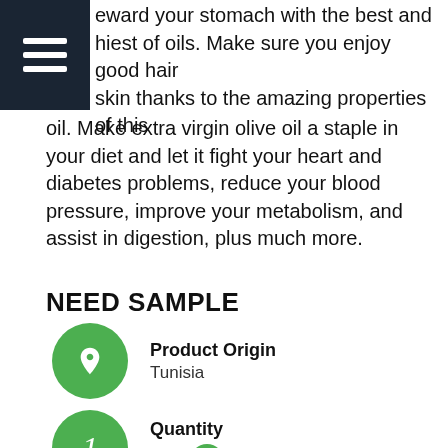eward your stomach with the best and hiest of oils. Make sure you enjoy good hair skin thanks to the amazing properties of this oil. Make extra virgin olive oil a staple in your diet and let it fight your heart and diabetes problems, reduce your blood pressure, improve your metabolism, and assist in digestion, plus much more.
NEED SAMPLE
Product Origin
Tunisia
Quantity
Oz  L  ml
Price
*Select country to get price (delivery included)
We choose carefully and deliver the best of the best because extra virgin